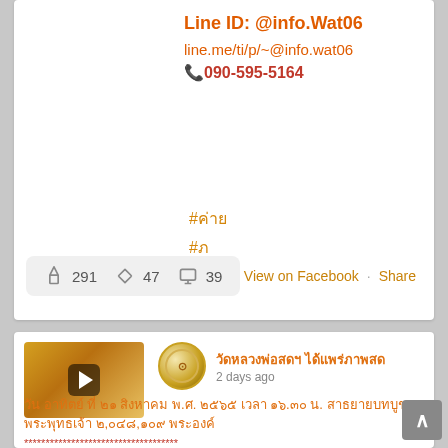Line ID: @info.Wat06
line.me/ti/p/~@info.wat06
📞090-595-5164
#ค่าย
#ภ
👍 291  ↗ 47  💬 39    View on Facebook · Share
[Figure (photo): Video thumbnail showing temple/golden statue scene with play button overlay]
วัดหลวงพ่อสดฯ ได้แพร่ภาพสด
2 days ago
วัน อาทิตย์ ที่ ๒๑ สิงหาคม พ.ศ. ๒๕๖๕ เวลา ๑๖.๓๐ น. สาธยายบทบูชาพระพุทธเจ้า ๒,๐๔๘,๑๐๙ พระองค์
************************************